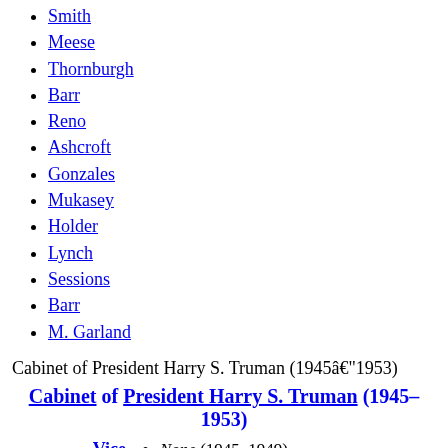Smith
Meese
Thornburgh
Barr
Reno
Ashcroft
Gonzales
Mukasey
Holder
Lynch
Sessions
Barr
M. Garland
Cabinet of President Harry S. Truman (1945–1953)
| Role | Officials |
| --- | --- |
| Cabinet of President Harry S. Truman (1945–1953) |  |
| Vice President | None (1945–1949); Alben W. Barkley (1949–1953) |
| Secretary of State | Edward Stettinius Jr. (1945); James F. Byrnes (1945–1947); George C. Marshall (1947–) |